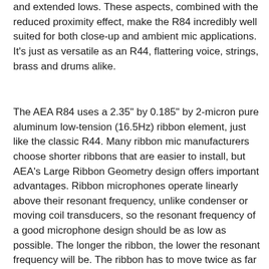and extended lows. These aspects, combined with the reduced proximity effect, make the R84 incredibly well suited for both close-up and ambient mic applications. It's just as versatile as an R44, flattering voice, strings, brass and drums alike.
The AEA R84 uses a 2.35" by 0.185" by 2-micron pure aluminum low-tension (16.5Hz) ribbon element, just like the classic R44. Many ribbon mic manufacturers choose shorter ribbons that are easier to install, but AEA's Large Ribbon Geometry design offers important advantages. Ribbon microphones operate linearly above their resonant frequency, unlike condenser or moving coil transducers, so the resonant frequency of a good microphone design should be as low as possible. The longer the ribbon, the lower the resonant frequency will be. The ribbon has to move twice as far for every drop in octave as it vibrates within the magnetic gap, thus, a longer ribbon will allow for further movement back and forth. This results in the ribbon handling louder sound sources and more sound pressure level.